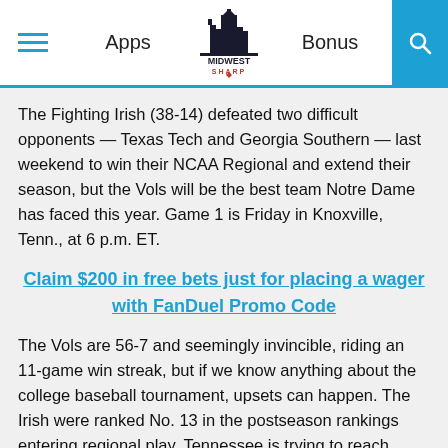Apps | MIDWEST SHARP | Bonus
The Fighting Irish (38-14) defeated two difficult opponents — Texas Tech and Georgia Southern — last weekend to win their NCAA Regional and extend their season, but the Vols will be the best team Notre Dame has faced this year. Game 1 is Friday in Knoxville, Tenn., at 6 p.m. ET.
Claim $200 in free bets just for placing a wager with FanDuel Promo Code
The Vols are 56-7 and seemingly invincible, riding an 11-game win streak, but if we know anything about the college baseball tournament, upsets can happen. The Irish were ranked No. 13 in the postseason rankings entering regional play. Tennessee is trying to reach